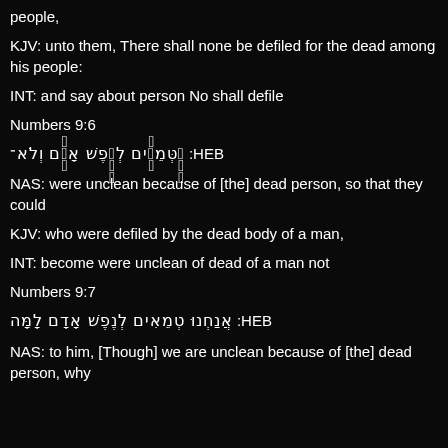people,
KJV: unto them, There shall none be defiled for the dead among his people:
INT: and say about person No shall defile
Numbers 9:6
HEB: הַ֣טְּמֵאִ֗ים לְנֶ֣פֶשׁ אָדָ֔ם וְלֹא־
NAS: were unclean because of [the] dead person, so that they could
KJV: who were defiled by the dead body of a man,
INT: become were unclean of dead of a man not
Numbers 9:7
HEB: אֲנַחְנוּ טְמֵאִים לְנֶפֶשׁ אָדָם לָמָּה
NAS: to him, [Though] we are unclean because of [the] dead person, why